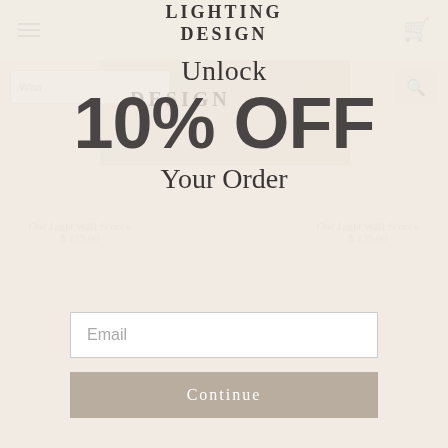[Figure (screenshot): E-commerce lighting design website with blurred background showing kitchen with pendant lights, navigation bar, search bar, and product listings]
LIGHTING DESIGN
Unlock
10% OFF
Your Order
One Light Wall Sconce
$ 129.00
One Light Wall Sconce
$ 135.00
Email
Continue